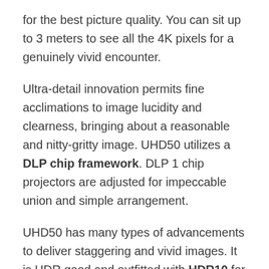for the best picture quality. You can sit up to 3 meters to see all the 4K pixels for a genuinely vivid encounter.
Ultra-detail innovation permits fine acclimations to image lucidity and clearness, bringing about a reasonable and nitty-gritty image. UHD50 utilizes a DLP chip framework. DLP 1 chip projectors are adjusted for impeccable union and simple arrangement.
UHD50 has many types of advancements to deliver staggering and vivid images. It is HDR good and outfitted with HDR10 for dull dark, splendid white, and more shading profundity.